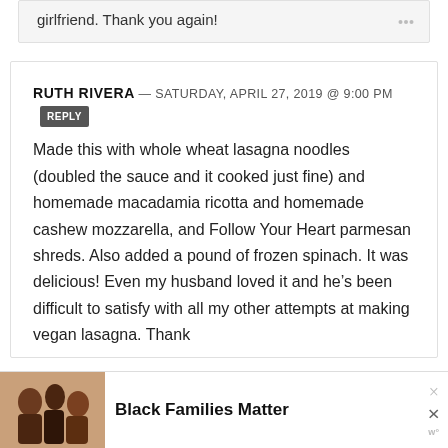girlfriend. Thank you again!
RUTH RIVERA — SATURDAY, APRIL 27, 2019 @ 9:00 PM [REPLY]
Made this with whole wheat lasagna noodles (doubled the sauce and it cooked just fine) and homemade macadamia ricotta and homemade cashew mozzarella, and Follow Your Heart parmesan shreds. Also added a pound of frozen spinach. It was delicious! Even my husband loved it and he’s been difficult to satisfy with all my other attempts at making vegan lasagna. Thank
[Figure (photo): Advertisement banner showing a family photo with text 'Black Families Matter' and close buttons]
Black Families Matter